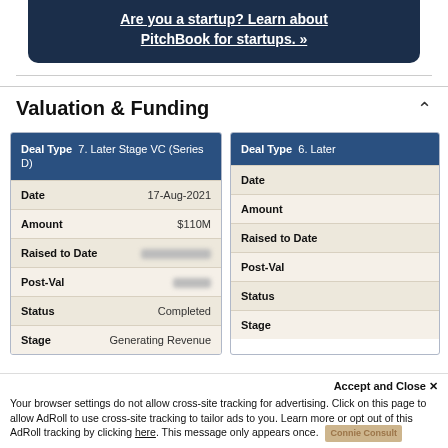[Figure (other): Dark navy blue banner with bold white underlined text: 'Are you a startup? Learn about PitchBook for startups. »']
Valuation & Funding
| Deal Type | 7. Later Stage VC (Series D) |
| --- | --- |
| Date | 17-Aug-2021 |
| Amount | $110M |
| Raised to Date | [redacted] |
| Post-Val | [redacted] |
| Status | Completed |
| Stage | Generating Revenue |
| Deal Type | 6. Later... |
| --- | --- |
| Date |  |
| Amount |  |
| Raised to Date |  |
| Post-Val |  |
| Status |  |
| Stage |  |
Accept and Close ✕
Your browser settings do not allow cross-site tracking for advertising. Click on this page to allow AdRoll to use cross-site tracking to tailor ads to you. Learn more or opt out of this AdRoll tracking by clicking here. This message only appears once.